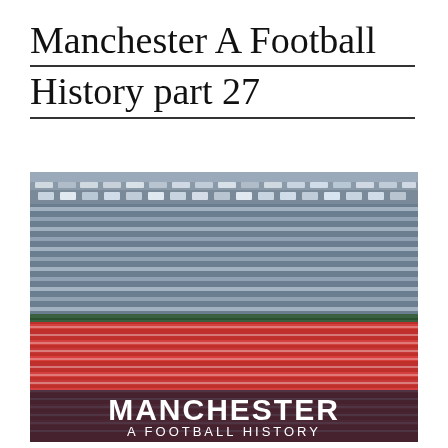Manchester A Football History part 27
[Figure (photo): Book cover photo showing a large football stadium crowd, with fans in blue/white scarves in the upper stands and red/white scarves in the lower stands. Text overlay at the bottom reads 'MANCHESTER A FOOTBALL HISTORY' in bold white letters on a dark background.]